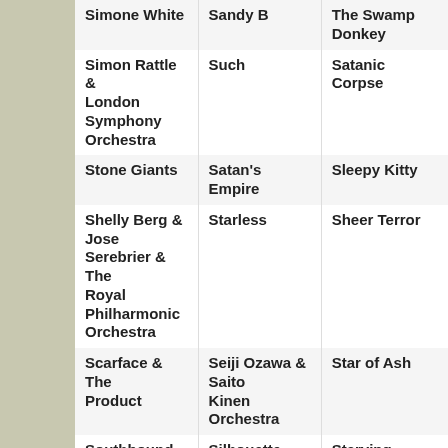| Simone White | Sandy B | The Swamp Donkey |
| Simon Rattle & London Symphony Orchestra | Such | Satanic Corpse |
| Stone Giants | Satan's Empire | Sleepy Kitty |
| Shelly Berg & Jose Serebrier & The Royal Philharmonic Orchestra | Starless | Sheer Terror |
| Scarface & The Product | Seiji Ozawa & Saito Kinen Orchestra | Star of Ash |
| Southbound Snake Charmers | Silhouette Brown | Starving Artists Crew |
| Stanley Clarke & George Duke | Scarborough | Steve Howe & Paul Sutin |
| Sam Burton | Skylar Stecker | Soledad |
| Soraya Arnelas | Satan Takes a Holiday | Sargeist |
| The Soup Dragons | Smiley | Sara Lov |
|  | SXTN | The Seven Mile Journey |
|  | Sentenced | Sam Black Church |
|  | Stoneghost | Sex Mob |
|  | Si Cranstoun | South Jordan |
|  | The Night Before... | Sam C... |